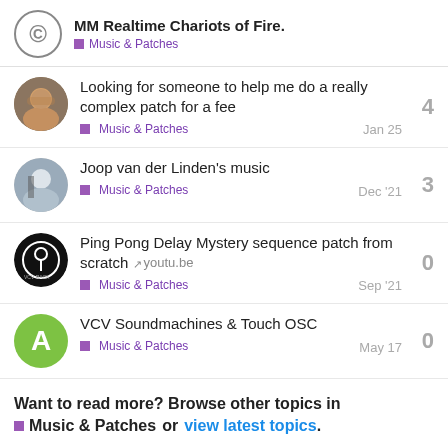MM Realtime Chariots of Fire. Music & Patches
Looking for someone to help me do a really complex patch for a fee | Music & Patches | Jan 25 | 4 replies
Joop van der Linden's music | Music & Patches | Dec '21 | 3 replies
Ping Pong Delay Mystery sequence patch from scratch youtu.be | Music & Patches | Sep '21 | 0 replies
VCV Soundmachines & Touch OSC | Music & Patches | May 17 | 0 replies
Want to read more? Browse other topics in Music & Patches or view latest topics.